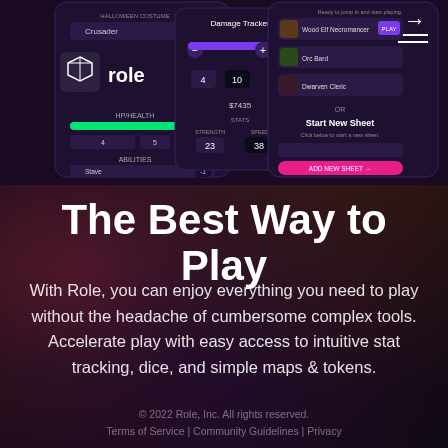[Figure (screenshot): Mobile app screenshots of the Role app showing character sheets, damage tracker, Halloween costume selection, and character selection screens on a dark purple UI background with Role logo visible]
The Best Way to Play
With Role, you can enjoy everything you need to play without the headache of cumbersome complex tools. Accelerate play with easy access to intuitive stat tracking, dice, and simple maps & tokens.
© 2022 Role, Inc. All rights reserved. Terms of Service | Community Guidelines | Privacy